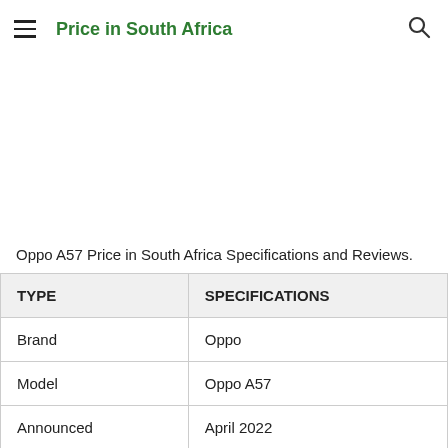Price in South Africa
Oppo A57 Price in South Africa Specifications and Reviews.
| TYPE | SPECIFICATIONS |
| --- | --- |
| Brand | Oppo |
| Model | Oppo A57 |
| Announced | April 2022 |